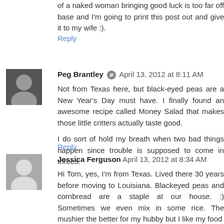of a naked woman bringing good luck is too far off base and I'm going to print this post out and give it to my wife :).
Reply
Peg Brantley  April 13, 2012 at 8:11 AM
Not from Texas here, but black-eyed peas are a New Year's Day must have. I finally found an awesome recipe called Money Salad that makes those little critters actually taste good.

I do sort of hold my breath when two bad things happen since trouble is supposed to come in threes.
Reply
Jessica Ferguson  April 13, 2012 at 8:34 AM
Hi Tom, yes, I'm from Texas. Lived there 30 years before moving to Louisiana. Blackeyed peas and cornbread are a staple at our house. :) Sometimes we even mix in some rice. The mushier the better for my hubby but I like my food